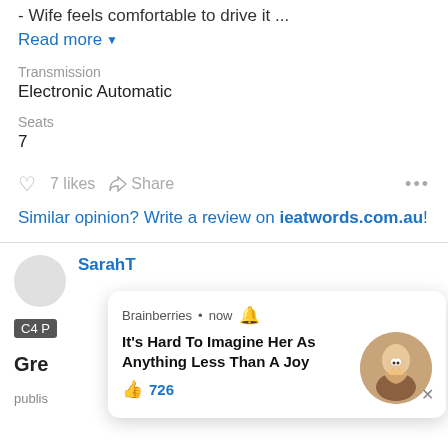- Wife feels comfortable to drive it ...
Read more ▾
Transmission
Electronic Automatic
Seats
7
7 likes   Share   ...
Similar opinion? Write a review on ieatwords.com.au!
SarahT
[Figure (screenshot): Popup notification overlay from Brainberries: 'It's Hard To Imagine Her As Anything Less Than A Joy' with 726 likes and a circular photo of a woman eating noodles, with an X close button.]